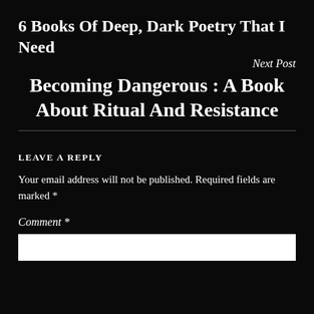6 Books Of Deep, Dark Poetry That I Need
Next Post
Becoming Dangerous : A Book About Ritual And Resistance
Leave a Reply
Your email address will not be published. Required fields are marked *
Comment *